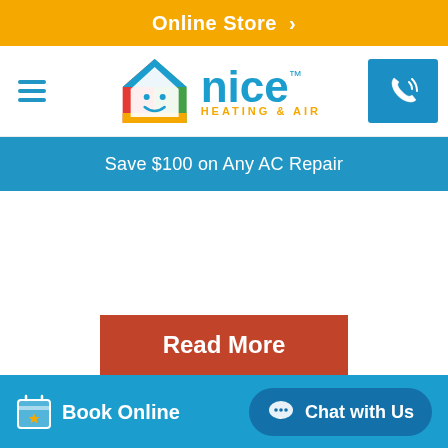Online Store >
[Figure (logo): Nice Heating & Air logo with colorful house icon and company name]
Save $100 on Any AC Repair
Read More
Book Online   Chat with Us